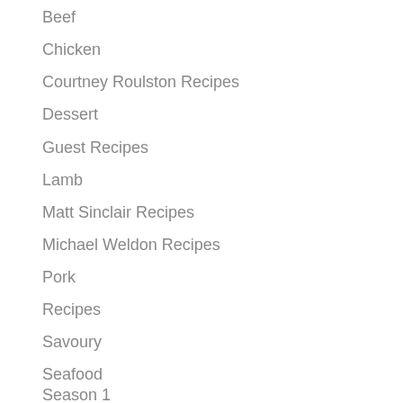Beef
Chicken
Courtney Roulston Recipes
Dessert
Guest Recipes
Lamb
Matt Sinclair Recipes
Michael Weldon Recipes
Pork
Recipes
Savoury
Seafood
Season 1